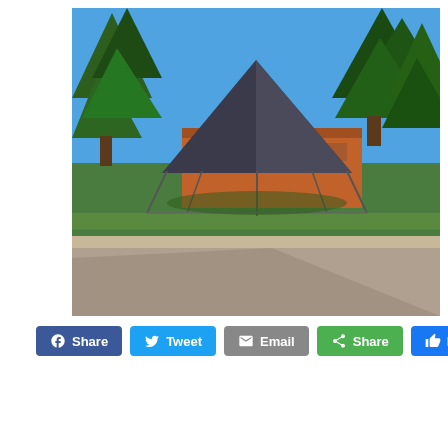[Figure (photo): Outdoor photo showing a large event tent or canopy structure with a pointed peak, supported by metal poles, set on a grassy area. Behind it is a red brick building. Trees flank both sides. A paved road runs in the foreground with strong afternoon shadows. Clear blue sky above.]
Share | Tweet | Email | Share | Like 0